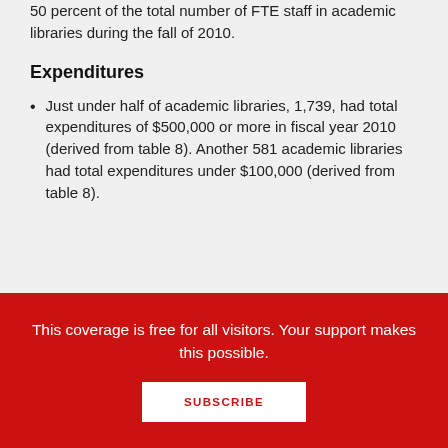50 percent of the total number of FTE staff in academic libraries during the fall of 2010.
Expenditures
Just under half of academic libraries, 1,739, had total expenditures of $500,000 or more in fiscal year 2010 (derived from table 8). Another 581 academic libraries had total expenditures under $100,000 (derived from table 8).
This coverage is free for all visitors. Your support makes this possible.
SUBSCRIBE